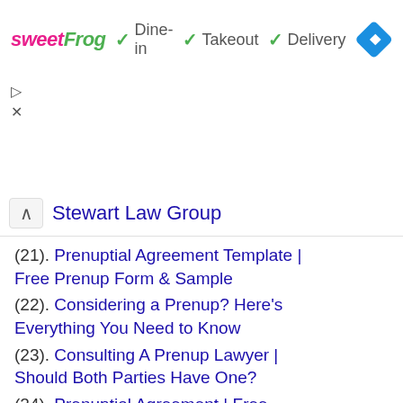[Figure (screenshot): Advertisement banner for sweetFrog showing Dine-in, Takeout, and Delivery options with green checkmarks, and a blue diamond navigation icon]
Stewart Law Group
(21). Prenuptial Agreement Template | Free Prenup Form & Sample
(22). Considering a Prenup? Here's Everything You Need to Know
(23). Consulting A Prenup Lawyer | Should Both Parties Have One?
(24). Prenuptial Agreement | Free Prenup Sample – Legal Templates
(25). FAQ: Getting a Prenup (or Postnup) in Illinois – The Wolkowitz …